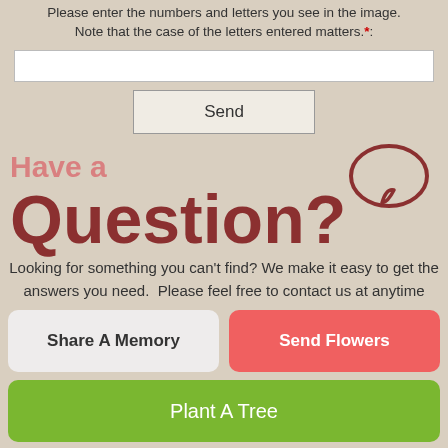Please enter the numbers and letters you see in the image. Note that the case of the letters entered matters.*:
Send
Have a Question?
[Figure (illustration): Speech bubble icon in dark red outline]
Looking for something you can't find? We make it easy to get the answers you need.  Please feel free to contact us at anytime
Share A Memory
Send Flowers
Plant A Tree